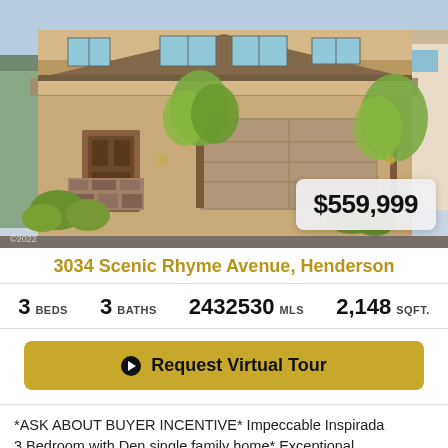[Figure (photo): Exterior photo of a two-story stucco single-family home with tan/brown facade, two-car garage, desert landscaping, and a price badge showing $559,999]
3034 Scenic Rhyme Avenue, Henderson
3 BEDS   3 BATHS   2432530 MLS   2,148 SQFT.
Request Virtual Tour
*ASK ABOUT BUYER INCENTIVE* Impeccable Inspirada 3 Bedroom with Den single family home* Exceptional